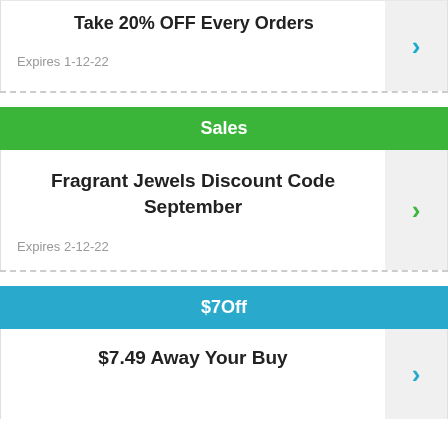Take 20% OFF Every Orders
Expires 1-12-22
Sales
Fragrant Jewels Discount Code September
Expires 2-12-22
$7Off
$7.49 Away Your Buy